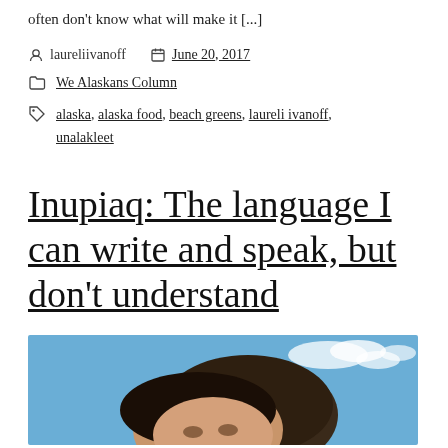often don't know what will make it [...]
laureliivanoff   June 20, 2017
We Alaskans Column
alaska, alaska food, beach greens, laureli ivanoff, unalakleet
Inupiaq: The language I can write and speak, but don't understand
[Figure (photo): A close-up photo of two people outdoors against a blue sky with clouds, photographed from below. Both appear to have dark hair; the person in front is wearing sunglasses on top of their head.]